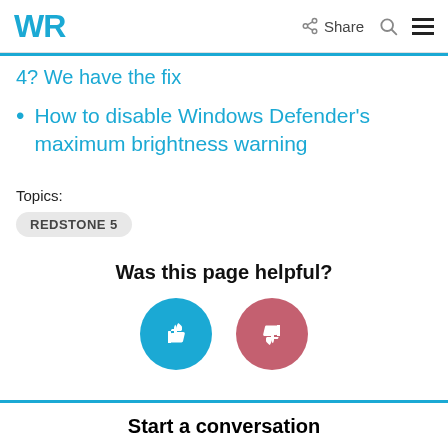WR | Share
4? We have the fix
How to disable Windows Defender's maximum brightness warning
Topics:
REDSTONE 5
Was this page helpful?
[Figure (infographic): Two circular buttons: blue thumbs up and red/pink thumbs down for page feedback]
Start a conversation